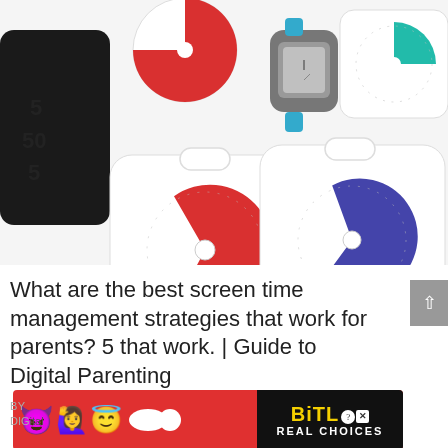[Figure (photo): Collection of visual timers and time management devices including Time Timer products in various sizes (white with red and blue sectors), a smartwatch, and a tablet showing a timer app, arranged on a white background.]
What are the best screen time management strategies that work for parents? 5 that work. | Guide to Digital Parenting
[Figure (other): BitLife advertisement banner with emoji characters (purple devil, angel, woman with arms raised), yellow BitLife logo, and 'REAL CHOICES' text on black background, on red background.]
BY
DIG
Next up in our Ultimate Guide to Digital